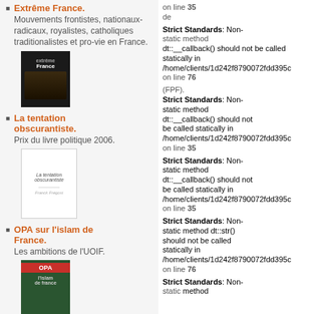Extrême France. Mouvements frontistes, nationaux-radicaux, royalistes, catholiques traditionalistes et pro-vie en France.
[Figure (photo): Book cover of Extrême France, dark background with horse image]
La tentation obscurantiste. Prix du livre politique 2006.
[Figure (photo): Book cover of La tentation obscurantiste, white cover]
OPA sur l'islam de France. Les ambitions de l'UOIF.
[Figure (photo): Book cover of OPA sur l'islam de France, dark cover]
L'effroyable imposteur.
Strict Standards: Non-static method dt::__callback() should not be called statically in /home/clients/1d242f8790072fdd395c on line 35
Strict Standards: Non-static method dt::__callback() should not be called statically in /home/clients/1d242f8790072fdd395c on line 76
Strict Standards: Non-static method dt::__callback() should not be called statically in /home/clients/1d242f8790072fdd395c on line 35
Strict Standards: Non-static method dt::str() should not be called statically in /home/clients/1d242f8790072fdd395c on line 76
Strict Standards: Non-static method dt::str() should not be called statically in /home/clients/1d242f8790072fdd395c on line 76